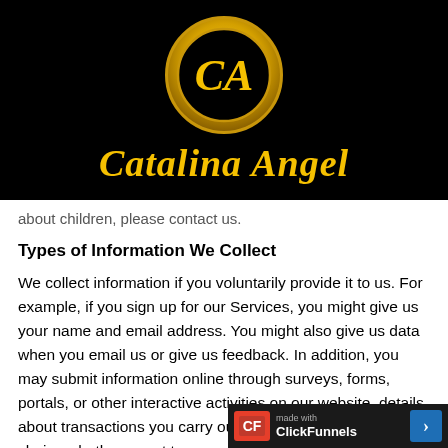[Figure (logo): Catalina Angel logo — circular golden emblem with 'CA' monogram and brand name in gold italic serif font on black background]
about children, please contact us.
Types of Information We Collect
We collect information if you voluntarily provide it to us. For example, if you sign up for our Services, you might give us your name and email address. You might also give us data when you email us or give us feedback. In addition, you may submit information online through surveys, forms, portals, or other interactive activities on our website. details about transactions you carry out through [cut off] always your choice whether or not t[cut off]
[Figure (logo): ClickFunnels 'made with ClickFunnels' badge in bottom-right corner with red icon, white text, and blue arrow button]